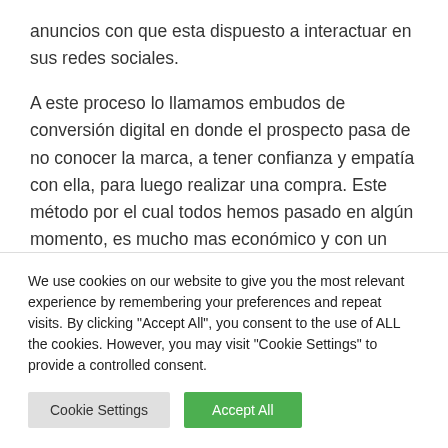anuncios con que esta dispuesto a interactuar en sus redes sociales.
A este proceso lo llamamos embudos de conversión digital en donde el prospecto pasa de no conocer la marca, a tener confianza y empatía con ella, para luego realizar una compra. Este método por el cual todos hemos pasado en algún momento, es mucho mas económico y con un tasa de cierre hasta del
We use cookies on our website to give you the most relevant experience by remembering your preferences and repeat visits. By clicking "Accept All", you consent to the use of ALL the cookies. However, you may visit "Cookie Settings" to provide a controlled consent.